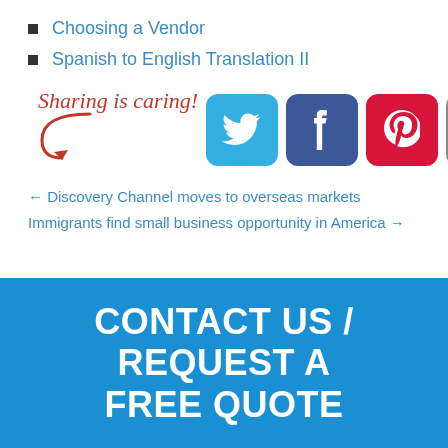Choosing a Vendor
Spanish to English Translation II
[Figure (infographic): Sharing is caring! text with arrow and five social media icon buttons: Twitter (blue), Facebook (dark blue), Pinterest (red), Email (gray), Share/recycle (green)]
← Discovery Channel moves to overseas markets
Immigrants find small business opportunity in America →
CONTACT US / REQUEST A FREE QUOTE